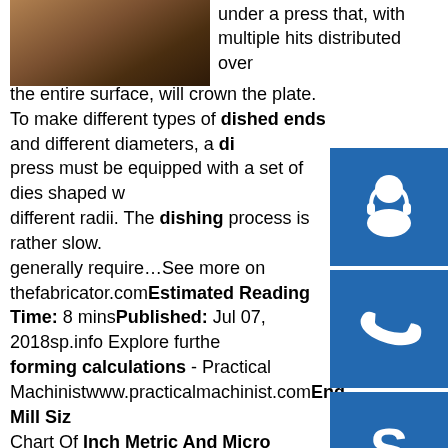[Figure (photo): Partial photo of a metalworking process, showing what appears to be a metal plate or head being formed, brown/tan tones]
under a press that, with multiple hits distributed over the entire surface, will crown the plate. To make different types of dished ends and different diameters, a di[shing] press must be equipped with a set of dies shaped w[ith] different radii. The dishing process is rather slow. [Large parts] generally require…See more on thefabricator.comEstimated Reading Time: 8 minsPublished: Jul 07, 2018sp.info Explore furthe[r] forming calculations - Practical Machinistwww.practicalmachinist.comEnd Mill Siz[e] Chart Of Inch Metric And Micro Diameterswww.th[e] carbide-end-mill-store…Tap Depth Vs Blind hole Depth - Machines & Machining ...www.eng-tips.comHow to Calculate Shrinkage for Die Casting | eHowwww.ehow.comMetal Shearing Process Pros & Cons - Metal Cutting Corporationmetalcutting.comsp.info Dished End Flanging Machine | Tank Head Making Machine ...The spinning
[Figure (illustration): Blue square icon with white customer support / headset person silhouette]
[Figure (illustration): Blue square icon with white telephone/phone icon]
[Figure (illustration): Blue square icon with white Skype logo 'S']